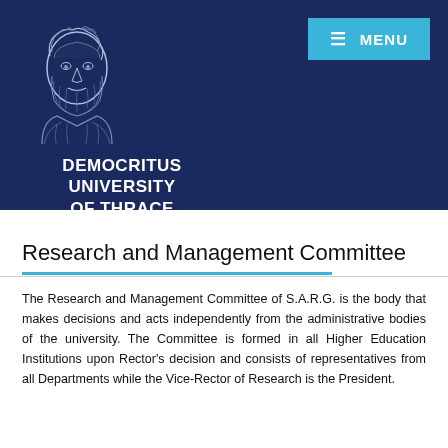[Figure (logo): Democritus University of Thrace logo showing a classical bust illustration of Democritus on a dark navy blue background]
DEMOCRITUS UNIVERSITY OF THRACE
Research and Management Committee
The Research and Management Committee of S.A.R.G. is the body that makes decisions and acts independently from the administrative bodies of the university. The Committee is formed in all Higher Education Institutions upon Rector's decision and consists of representatives from all Departments while the Vice-Rector of Research is the President.